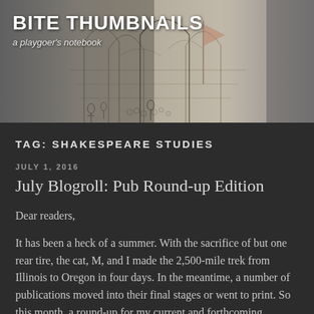[Figure (illustration): Header banner with a sketched architectural/theatrical scene drawing in pencil/ink style with arches and figures, serving as background for the blog header]
BITE THUMBNAILS
a playgoer's notebook
TAG: SHAKESPEARE STUDIES
JULY 1, 2016
July Blogroll: Pub Round-up Edition
Dear readers,
It has been a heck of a summer. With the sacrifice of but one rear tire, the cat, M, and I made the 2,500-mile trek from Illinois to Oregon in four days. In the meantime, a number of publications moved into their final stages or went to print. So this month, a round-up for my current and forthcoming publications with summaries that you